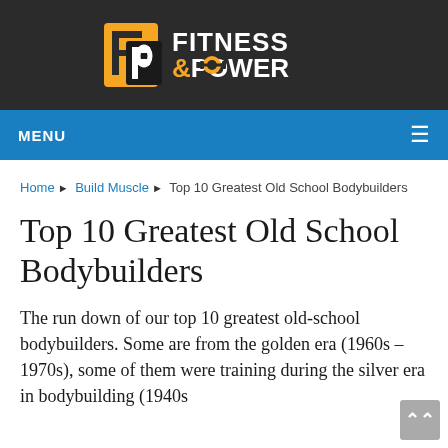[Figure (logo): Fitness & Power logo with orange F-P block letters and barbell icon on dark background]
MENU ≡
Home ▶ Build Muscle ▶ Top 10 Greatest Old School Bodybuilders
Top 10 Greatest Old School Bodybuilders
The run down of our top 10 greatest old-school bodybuilders. Some are from the golden era (1960s – 1970s), some of them were training during the silver era in bodybuilding (1940s through the 1960s).